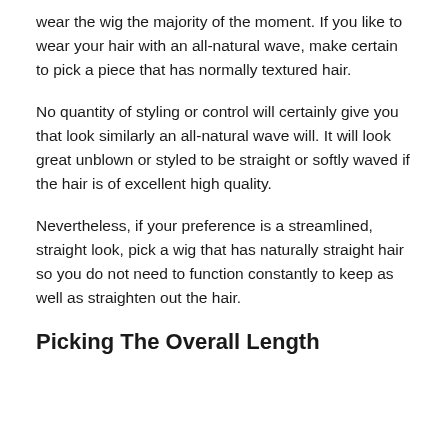wear the wig the majority of the moment. If you like to wear your hair with an all-natural wave, make certain to pick a piece that has normally textured hair.
No quantity of styling or control will certainly give you that look similarly an all-natural wave will. It will look great unblown or styled to be straight or softly waved if the hair is of excellent high quality.
Nevertheless, if your preference is a streamlined, straight look, pick a wig that has naturally straight hair so you do not need to function constantly to keep as well as straighten out the hair.
Picking The Overall Length